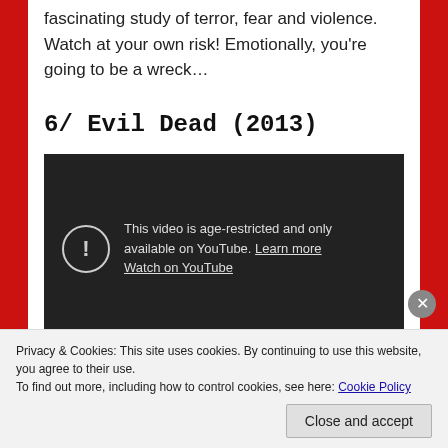fascinating study of terror, fear and violence. Watch at your own risk! Emotionally, you're going to be a wreck...
6/ Evil Dead (2013)
[Figure (screenshot): YouTube embedded video player showing age-restriction notice: 'This video is age-restricted and only available on YouTube. Learn more. Watch on YouTube.']
Privacy & Cookies: This site uses cookies. By continuing to use this website, you agree to their use. To find out more, including how to control cookies, see here: Cookie Policy
Close and accept